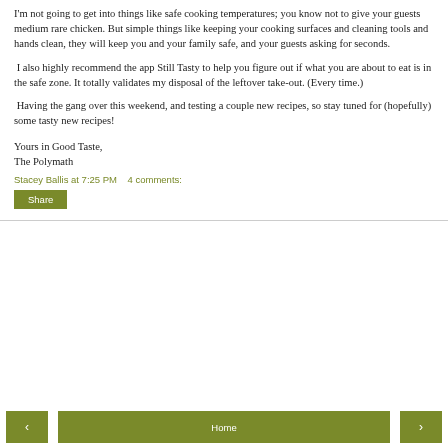I'm not going to get into things like safe cooking temperatures; you know not to give your guests medium rare chicken.  But simple things like keeping your cooking surfaces and cleaning tools and hands clean, they will keep you and your family safe, and your guests asking for seconds.
I also highly recommend the app Still Tasty to help you figure out if what you are about to eat is in the safe zone.  It totally validates my disposal of the leftover take-out.  (Every time.)
Having the gang over this weekend, and testing a couple new recipes, so stay tuned for (hopefully) some tasty new recipes!
Yours in Good Taste,
The Polymath
Stacey Ballis at 7:25 PM    4 comments:
Share
< | Home | >